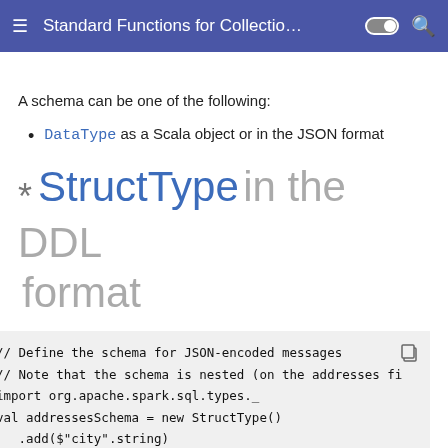Standard Functions for Collectio…
A schema can be one of the following:
DataType as a Scala object or in the JSON format
* StructType in the DDL format
// Define the schema for JSON-encoded messages
// Note that the schema is nested (on the addresses fi
import org.apache.spark.sql.types._
val addressesSchema = new StructType()
   .add($"city".string)
   .add($"state".string)
   .add($"zip".string)
val schema = new StructType()